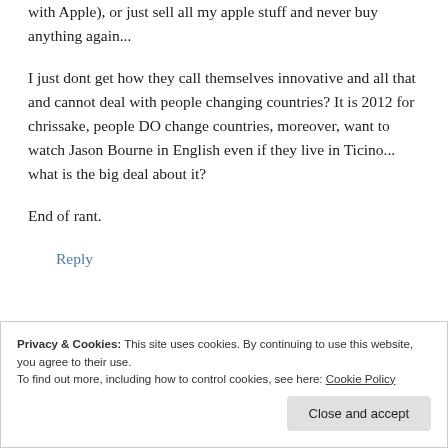with Apple), or just sell all my apple stuff and never buy anything again...
I just dont get how they call themselves innovative and all that and cannot deal with people changing countries? It is 2012 for chrissake, people DO change countries, moreover, want to watch Jason Bourne in English even if they live in Ticino... what is the big deal about it?
End of rant.
Reply
Privacy & Cookies: This site uses cookies. By continuing to use this website, you agree to their use.
To find out more, including how to control cookies, see here: Cookie Policy